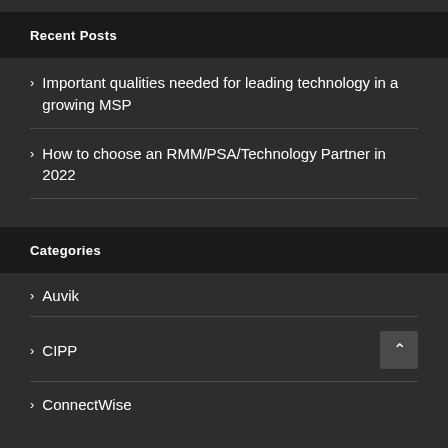Recent Posts
Important qualities needed for leading technology in a growing MSP
How to choose an RMM/PSA/Technology Partner in 2022
Categories
Auvik
CIPP
ConnectWise